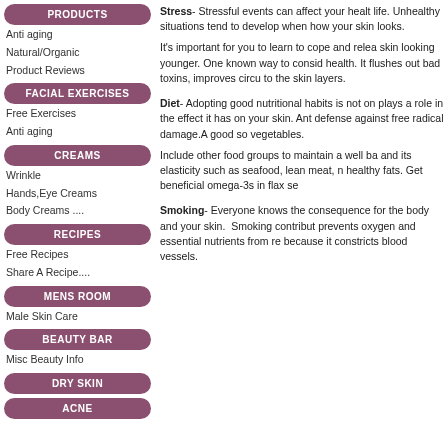PRODUCTS
Anti aging
Natural/Organic
Product Reviews
FACIAL EXERCISES
Free Exercises
Anti aging
CREAMS
Wrinkle
Hands,Eye Creams
Body Creams ....
RECIPES
Free Recipes
Share A Recipe....
MENS ROOM
Male Skin Care
BEAUTY BAR
Misc Beauty Info
DRY SKIN
ACNE
Stress- Stressful events can affect your health life. Unhealthy situations tend to develop when how your skin looks.
It's important for you to learn to cope and release skin looking younger. One known way to consider health. It flushes out bad toxins, improves circu to the skin layers.
Diet- Adopting good nutritional habits is not on plays a role in the effect it has on your skin. Anti defense against free radical damage.A good so vegetables.
Include other food groups to maintain a well ba and its elasticity such as seafood, lean meat, n healthy fats. Get beneficial omega-3s in flax se
Smoking- Everyone knows the consequences for the body and your skin. Smoking contributes prevents oxygen and essential nutrients from re because it constricts blood vessels.